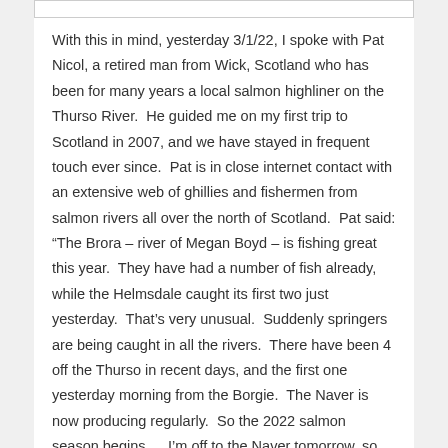With this in mind, yesterday 3/1/22, I spoke with Pat Nicol, a retired man from Wick, Scotland who has been for many years a local salmon highliner on the Thurso River. He guided me on my first trip to Scotland in 2007, and we have stayed in frequent touch ever since. Pat is in close internet contact with an extensive web of ghillies and fishermen from salmon rivers all over the north of Scotland. Pat said: “The Brora – river of Megan Boyd – is fishing great this year. They have had a number of fish already, while the Helmsdale caught its first two just yesterday. That’s very unusual. Suddenly springers are being caught in all the rivers. There have been 4 off the Thurso in recent days, and the first one yesterday morning from the Borgie. The Naver is now producing regularly. So the 2022 salmon season begins… I’m off to the Naver tomorrow, so look for a full report after I return during the week of March 14th. Hopefully Scottish catches will